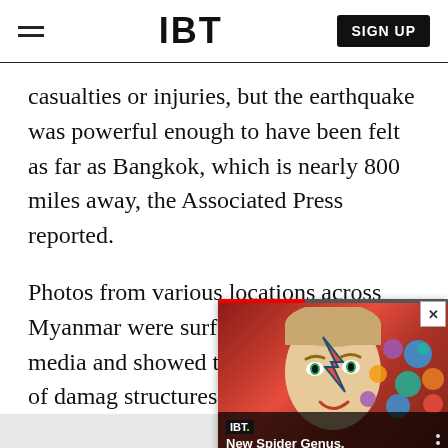IBT | SIGN UP
casualties or injuries, but the earthquake was powerful enough to have been felt as far as Bangkok, which is nearly 800 miles away, the Associated Press reported.
Photos from various locations across Myanmar were surfacing on social media and showed the extent of the type of damage structures sustained from th
[Figure (screenshot): IBT video overlay showing a David Bowie-style face with lightning bolt makeup, with overlay text: New Spider Genus, Several New Species...]